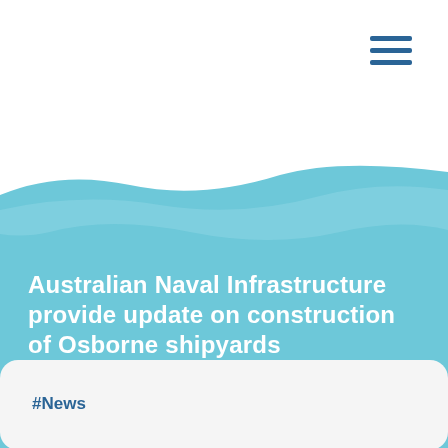[Figure (illustration): Hamburger menu icon (three horizontal dark blue lines) in the top-right corner of the page.]
[Figure (illustration): Large light blue curved wave shape covering the lower half to two-thirds of the page background, with a lighter blue inner wave accent near the top of the wave.]
Australian Naval Infrastructure provide update on construction of Osborne shipyards
#News